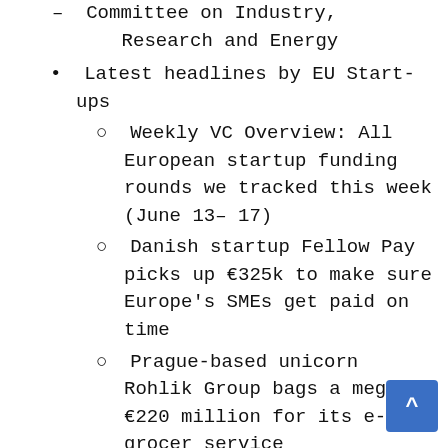– Committee on Industry, Research and Energy
• Latest headlines by EU Start-ups
◦ Weekly VC Overview: All European startup funding rounds we tracked this week (June 13– 17)
◦ Danish startup Fellow Pay picks up €325k to make sure Europe's SMEs get paid on time
◦ Prague-based unicorn Rohlik Group bags a mega €220 million for its e-grocer service